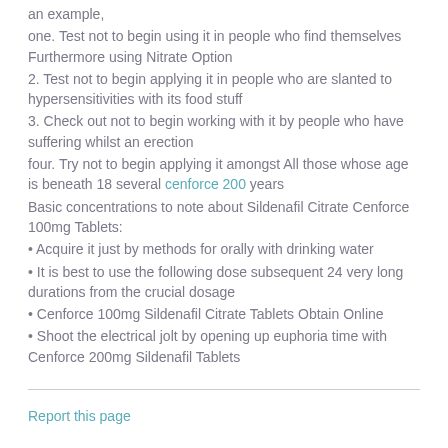an example,
one. Test not to begin using it in people who find themselves Furthermore using Nitrate Option
2. Test not to begin applying it in people who are slanted to hypersensitivities with its food stuff
3. Check out not to begin working with it by people who have suffering whilst an erection
four. Try not to begin applying it amongst All those whose age is beneath 18 several cenforce 200 years
Basic concentrations to note about Sildenafil Citrate Cenforce 100mg Tablets:
• Acquire it just by methods for orally with drinking water
• It is best to use the following dose subsequent 24 very long durations from the crucial dosage
• Cenforce 100mg Sildenafil Citrate Tablets Obtain Online
• Shoot the electrical jolt by opening up euphoria time with Cenforce 200mg Sildenafil Tablets
Report this page